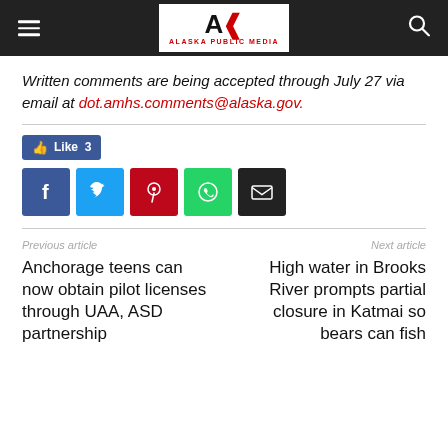Alaska Public Media
Written comments are being accepted through July 27 via email at dot.amhs.comments@alaska.gov.
[Figure (other): Social sharing buttons: Facebook Like (3), Facebook, Twitter, Pinterest, WhatsApp, Email]
Previous article
Anchorage teens can now obtain pilot licenses through UAA, ASD partnership
Next article
High water in Brooks River prompts partial closure in Katmai so bears can fish